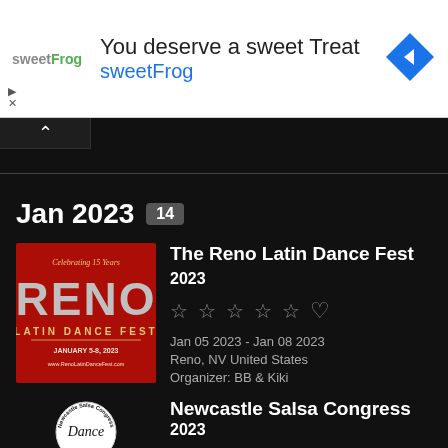[Figure (infographic): Advertisement banner for sweetFrog frozen yogurt. Shows sweetFrog logo on left, text 'You deserve a sweet Treat' and 'sweetFrog' in blue, navigation diamond icon on right.]
Jan 2023  14
[Figure (photo): Red promotional poster for The Reno Latin Dance Fest, January 5-8, 2023. Shows RENO text in large silver letters, 'Celebrating 15 Years', 'LATIN DANCE FEST' text, and website www.RenoLatinDanceFest.com]
The Reno Latin Dance Fest 2023
☆☆☆☆☆ ♡
Jan 05 2023 - Jan 08 2023
Reno, NV United States
Organizer: BB & Kiki
[Figure (photo): Black and white circular logo for Newcastle Salsa Congress Dance event.]
Newcastle Salsa Congress 2023